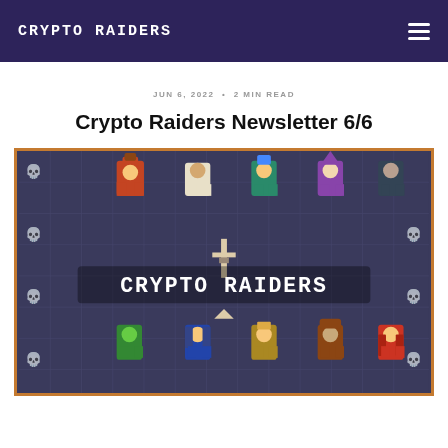CRYPTO RAIDERS
JUN 6, 2022 • 2 MIN READ
Crypto Raiders Newsletter 6/6
[Figure (illustration): Pixel art game screenshot showing the Crypto Raiders game with colorful character sprites on a dark dungeon tile grid background, with the text CRYPTO RAIDERS displayed in the center]